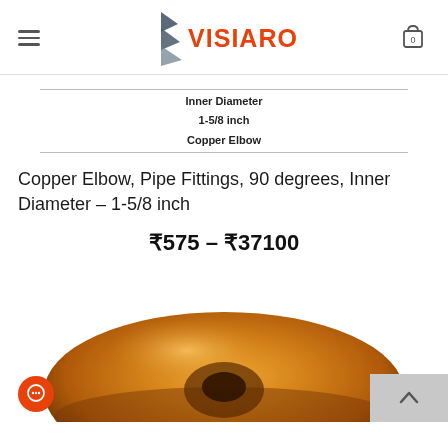VISIARO
| Inner Diameter |
| 1-5/8 inch |
| Copper Elbow |
Copper Elbow, Pipe Fittings, 90 degrees, Inner Diameter – 1-5/8 inch
₹575 – ₹37100
[Figure (photo): Close-up photo of a copper elbow pipe fitting, showing the curved copper metal surface with golden-brown color]